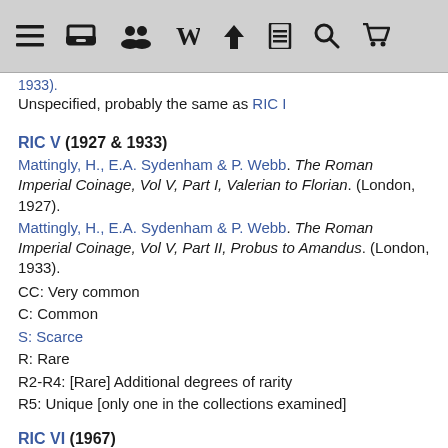toolbar navigation icons
1933).
Unspecified, probably the same as RIC I
RIC V (1927 & 1933)
Mattingly, H., E.A. Sydenham & P. Webb. The Roman Imperial Coinage, Vol V, Part I, Valerian to Florian. (London, 1927).
Mattingly, H., E.A. Sydenham & P. Webb. The Roman Imperial Coinage, Vol V, Part II, Probus to Amandus. (London, 1933).
CC: Very common
C: Common
S: Scarce
R: Rare
R2-R4: [Rare] Additional degrees of rarity
R5: Unique [only one in the collections examined]
RIC VI (1967)
Sutherland, R.A.C. & C.H.V. Carson. The Roman Imperial Coinage, Vol VI, From Diocletian's reform to the death of Maximinus. (London, 1967).
C2: [Very] Common in every major collection
C: [Common] In every major collection
S: [Scarce] In most major collections
R: [Rare] 26-50 coins known [in the collections examined]
R2: [Rare] 11-25 coins known [in the collections examined]
R3: [Rare] 6-10 coins known [in the collections examined]
R4: [Very Rare] 2-5 coins known [in the collections examined]